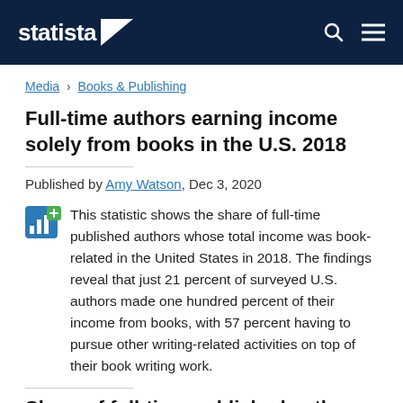statista
Media › Books & Publishing
Full-time authors earning income solely from books in the U.S. 2018
Published by Amy Watson, Dec 3, 2020
This statistic shows the share of full-time published authors whose total income was book-related in the United States in 2018. The findings reveal that just 21 percent of surveyed U.S. authors made one hundred percent of their income from books, with 57 percent having to pursue other writing-related activities on top of their book writing work.
Share of full-time published authors whose